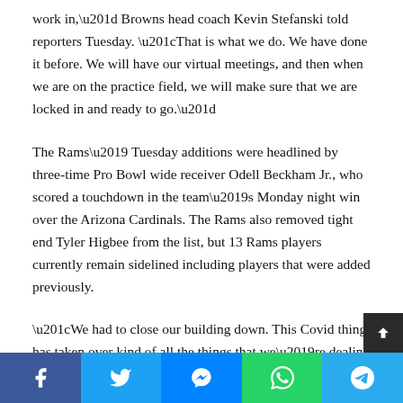work in,” Browns head coach Kevin Stefanski told reporters Tuesday. “That is what we do. We have done it before. We will have our virtual meetings, and then when we are on the practice field, we will make sure that we are locked in and ready to go.”
The Rams’ Tuesday additions were headlined by three-time Pro Bowl wide receiver Odell Beckham Jr., who scored a touchdown in the team’s Monday night win over the Arizona Cardinals. The Rams also removed tight end Tyler Higbee from the list, but 13 Rams players currently remain sidelined including players that were added previously.
“We had to close our building down. This Covid thing has taken over kind of all the things that we’re dealing with right now,” Rams head coach Sean McVay said Tuesday. “We’re